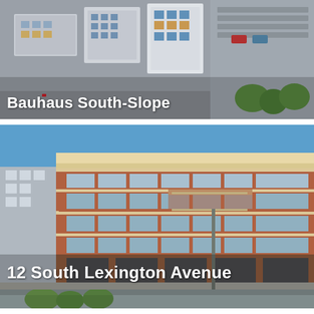[Figure (photo): Aerial view of Bauhaus South-Slope residential building complex, showing modern townhouse-style units with gray and blue facades, rooftop sections, parking lot, and surrounding greenery.]
Bauhaus South-Slope
[Figure (photo): Street-level view of 12 South Lexington Avenue, a large multi-story brick apartment building with balconies, large windows, and a beige/cream upper cornice under a clear blue sky.]
12 South Lexington Avenue
[Figure (photo): Partial view of a third building, mostly cropped, showing rooftop and upper portion of another residential or mixed-use property.]